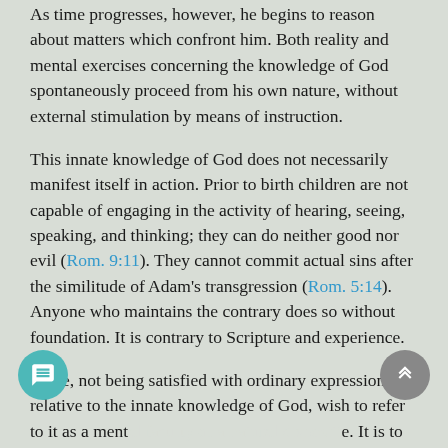As time progresses, however, he begins to reason about matters which confront him. Both reality and mental exercises concerning the knowledge of God spontaneously proceed from his own nature, without external stimulation by means of instruction.
This innate knowledge of God does not necessarily manifest itself in action. Prior to birth children are not capable of engaging in the activity of hearing, seeing, speaking, and thinking; they can do neither good nor evil (Rom. 9:11). They cannot commit actual sins after the similitude of Adam's transgression (Rom. 5:14). Anyone who maintains the contrary does so without foundation. It is contrary to Scripture and experience.
Some, not being satisfied with ordinary expressions relative to the innate knowledge of God, wish to refer to it as a ment... It is to be feared, however, that this notion is a cloa... for strange sentiments. This would, for example, suggest that